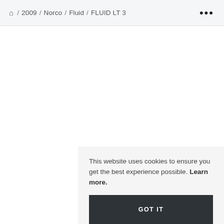🏠 / 2009 / Norco / Fluid / FLUID LT 3   •••
This website uses cookies to ensure you get the best experience possible. Learn more.
GOT IT